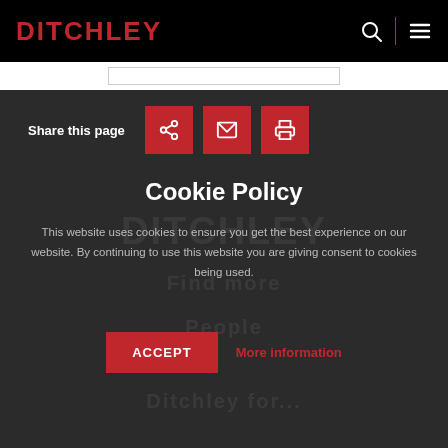DITCHLEY
Share this page
Cookie Policy
This website uses cookies to ensure you get the best experience on our website. By continuing to use this website you are giving consent to cookies being used.
ACCEPT   More information